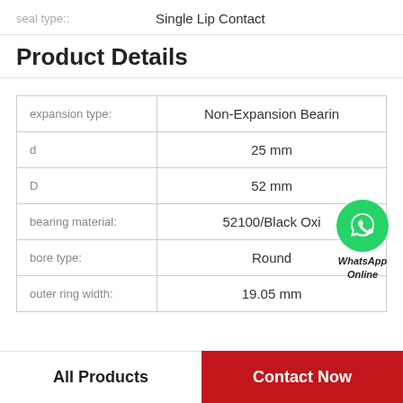seal type:: Single Lip Contact
Product Details
|  |  |
| --- | --- |
| expansion type: | Non-Expansion Bearin |
| d | 25 mm |
| D | 52 mm |
| bearing material: | 52100/Black Oxi |
| bore type: | Round |
| outer ring width: | 19.05 mm |
[Figure (logo): WhatsApp Online green circle logo with phone icon and italic bold text 'WhatsApp Online']
All Products
Contact Now